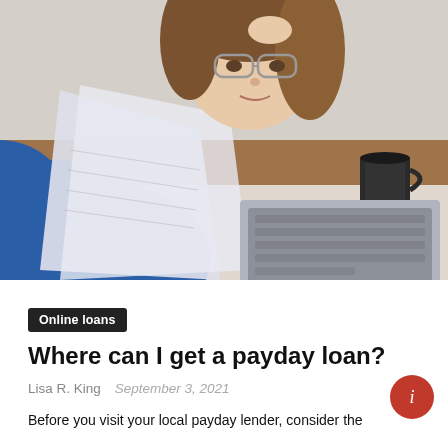[Figure (photo): Woman with glasses and curly hair looking stressed, reading papers at a desk with a laptop and coffee mug in the background.]
Online loans
Where can I get a payday loan?
Lisa R. King   September 3, 2021
Before you visit your local payday lender, consider the